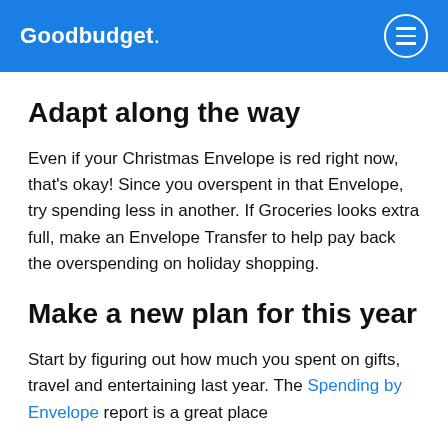Goodbudget
Adapt along the way
Even if your Christmas Envelope is red right now, that's okay! Since you overspent in that Envelope, try spending less in another. If Groceries looks extra full, make an Envelope Transfer to help pay back the overspending on holiday shopping.
Make a new plan for this year
Start by figuring out how much you spent on gifts, travel and entertaining last year. The Spending by Envelope report is a great place